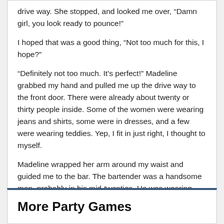drive way. She stopped, and looked me over, “Damn girl, you look ready to pounce!”
I hoped that was a good thing, “Not too much for this, I hope?”
“Definitely not too much. It’s perfect!” Madeline grabbed my hand and pulled me up the drive way to the front door. There were already about twenty or thirty people inside. Some of the women were wearing jeans and shirts, some were in dresses, and a few were wearing teddies. Yep, I fit in just right, I thought to myself.
Madeline wrapped her arm around my waist and guided me to the bar. The bartender was a handsome man, probably in his mid-twenties. He was wearing boxers and an earring. That was it! He poured me a drink and smiled, “Love the outfit. I’ve always had a thing for school girls.”
(more...)
More Party Games